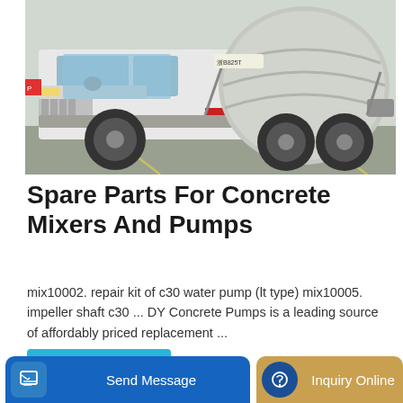[Figure (photo): A white concrete mixer truck (transit mixer) parked in a lot, showing the cab and rotating drum, photographed from a slight left-front angle.]
Spare Parts For Concrete Mixers And Pumps
mix10002. repair kit of c30 water pump (lt type) mix10005. impeller shaft c30 ... DY Concrete Pumps is a leading source of affordably priced replacement ...
Learn More
Send Message
Inquiry Online